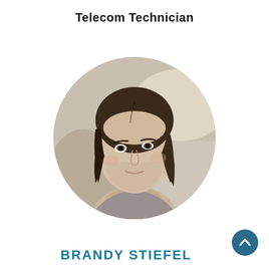Telecom Technician
[Figure (photo): Circular cropped black-and-white portrait photo of a young woman with a bob haircut, looking slightly upward, seated indoors with blurred background.]
BRANDY STIEFEL